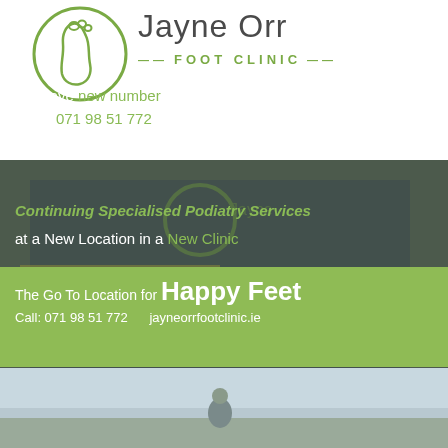[Figure (logo): Jayne Orr Foot Clinic logo with circular foot icon and brand name]
[Figure (photo): Jayne Orr Foot Clinic building exterior with yellow fence and green signage]
We have new number in our Ballyshannon Clinic – Please call us on 071 98 51 772
Continuing Specialised Podiatry Services at a New Location in a New Clinic
The Go To Location for Happy Feet
Call: 071 98 51 772       jayneorrfootclinic.ie
[Figure (photo): Person sitting outdoors, partial view, bottom of page]